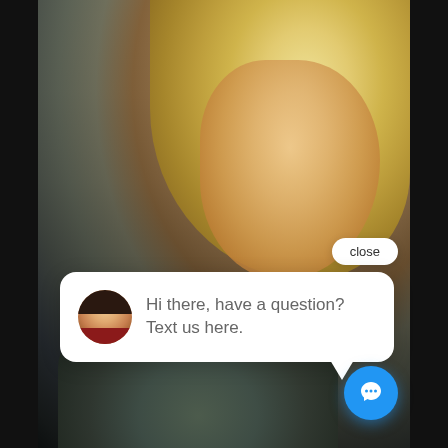[Figure (screenshot): Screenshot of a website or app showing a woman with blonde hair in the background, with a live chat widget overlay. A white rounded 'close' button appears in the upper right area. A white chat bubble says 'Hi there, have a question? Text us here.' with a female avatar. A blue circular chat icon button is at the bottom right.]
close
Hi there, have a question? Text us here.